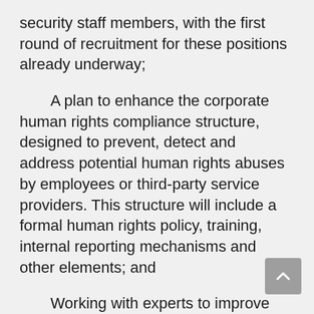security staff members, with the first round of recruitment for these positions already underway;
A plan to enhance the corporate human rights compliance structure, designed to prevent, detect and address potential human rights abuses by employees or third-party service providers. This structure will include a formal human rights policy, training, internal reporting mechanisms and other elements; and
Working with experts to improve both internal and third-party grievance mechanisms so that victims of crime or people who have information about crimes